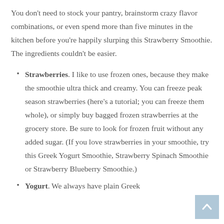You don't need to stock your pantry, brainstorm crazy flavor combinations, or even spend more than five minutes in the kitchen before you're happily slurping this Strawberry Smoothie. The ingredients couldn't be easier.
Strawberries. I like to use frozen ones, because they make the smoothie ultra thick and creamy. You can freeze peak season strawberries (here's a tutorial; you can freeze them whole), or simply buy bagged frozen strawberries at the grocery store. Be sure to look for frozen fruit without any added sugar. (If you love strawberries in your smoothie, try this Greek Yogurt Smoothie, Strawberry Spinach Smoothie or Strawberry Blueberry Smoothie.)
Yogurt. We always have plain Greek